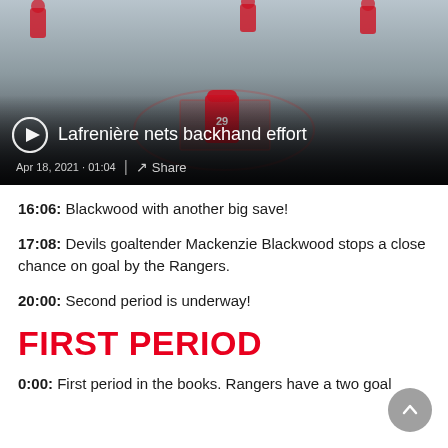[Figure (screenshot): Hockey video thumbnail showing players on ice with a goalie (number 29). Overlay shows play button, title 'Lafrenière nets backhand effort', date 'Apr 18, 2021 · 01:04', and Share button.]
16:06: Blackwood with another big save!
17:08: Devils goaltender Mackenzie Blackwood stops a close chance on goal by the Rangers.
20:00: Second period is underway!
FIRST PERIOD
0:00: First period in the books. Rangers have a two goal